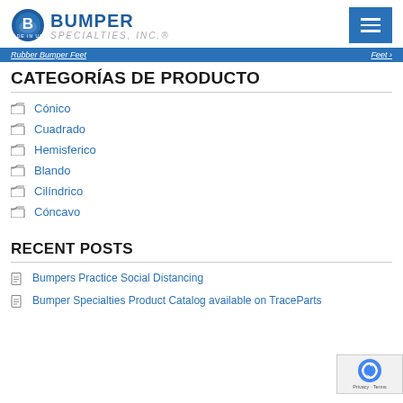Bumper Specialties, Inc.
Rubber Bumper Feet  Feet ›
CATEGORÍAS DE PRODUCTO
Cónico
Cuadrado
Hemisferico
Blando
Cilíndrico
Cóncavo
RECENT POSTS
Bumpers Practice Social Distancing
Bumper Specialties Product Catalog available on TraceParts